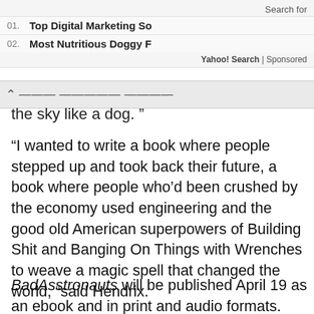Search for
01. Top Digital Marketing So...
02. Most Nutritious Doggy F...
Yahoo! Search | Sponsored
...the sky like a dog. ”
“I wanted to write a book where people stepped up and took back their future, a book where people who’d been crushed by the economy used engineering and the good old American superpowers of Building Shit and Banging On Things with Wrenches to weave a magic spell that changed the world, “said Hendrix.
BadAsstronauts will be published April 19 as an ebook and in print and audio formats.